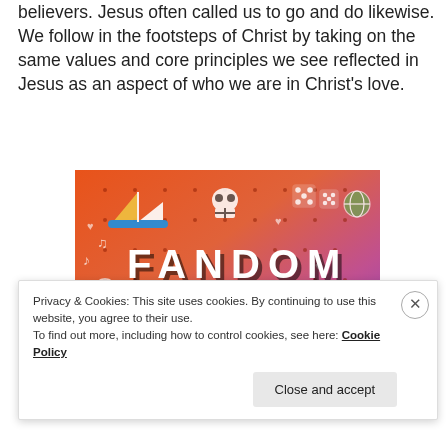believers. Jesus often called us to go and do likewise. We follow in the footsteps of Christ by taking on the same values and core principles we see reflected in Jesus as an aspect of who we are in Christ's love.
[Figure (illustration): Colorful illustration with orange-to-purple gradient background, decorated with white doodles (sailboat, skull, music notes, dice, stars, hearts, arrows, sea creatures) and bold text reading 'FANDOM ON tumblr']
Privacy & Cookies: This site uses cookies. By continuing to use this website, you agree to their use.
To find out more, including how to control cookies, see here: Cookie Policy
Close and accept